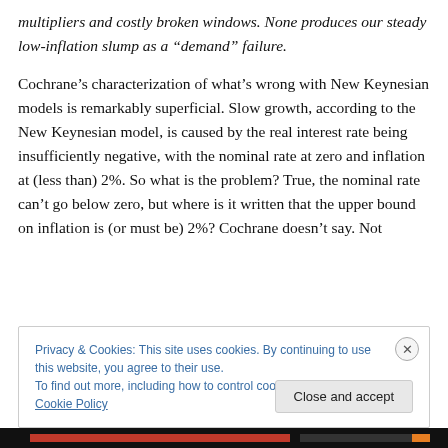multipliers and costly broken windows. None produces our steady low-inflation slump as a “demand” failure.
Cochrane’s characterization of what’s wrong with New Keynesian models is remarkably superficial. Slow growth, according to the New Keynesian model, is caused by the real interest rate being insufficiently negative, with the nominal rate at zero and inflation at (less than) 2%. So what is the problem? True, the nominal rate can’t go below zero, but where is it written that the upper bound on inflation is (or must be) 2%? Cochrane doesn’t say. Not
Privacy & Cookies: This site uses cookies. By continuing to use this website, you agree to their use.
To find out more, including how to control cookies, see here: Cookie Policy
Close and accept